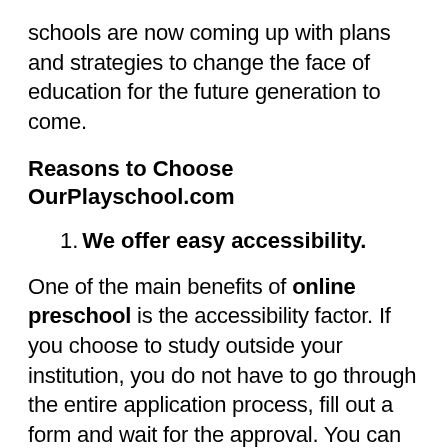schools are now coming up with plans and strategies to change the face of education for the future generation to come.
Reasons to Choose OurPlayschool.com
1. We offer easy accessibility.
One of the main benefits of online preschool is the accessibility factor. If you choose to study outside your institution, you do not have to go through the entire application process, fill out a form and wait for the approval. You can find the class you like, read all the details, and sign up if satisfied. We have counsellors who will assist you at every step of your admission